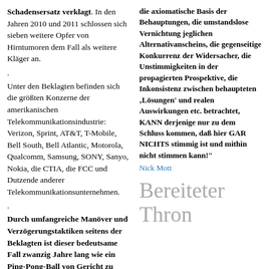Schadensersatz verklagt. In den Jahren 2010 und 2011 schlossen sich sieben weitere Opfer von Hirntumoren dem Fall als weitere Kläger an.
.
Unter den Beklagten befinden sich die größten Konzerne der amerikanischen Telekommunikationsindustrie: Verizon, Sprint, AT&T, T-Mobile, Bell South, Bell Atlantic, Motorola, Qualcomm, Samsung, SONY, Sanyo, Nokia, die CTIA, die FCC und Dutzende anderer Telekommunikationsunternehmen.
.
Durch umfangreiche Manöver und Verzögerungstaktiken seitens der Beklagten ist dieser bedeutsame Fall zwanzig Jahre lang wie ein Ping-Pong-Ball von Gericht zu Gericht hin und
die axiomatische Basis der Behauptungen, die umstandslose Vernichtung jeglichen Alternativanscheins, die gegenseitige Konkurrenz der Widersacher, die Unstimmigkeiten in der propagierten Prospektive, die Inkonsistenz zwischen behaupteten 'Lösungen' und realen Auswirkungen etc. betrachtet, KANN derjenige nur zu dem Schluss kommen, daß hier GAR NICHTS stimmig ist und mithin nicht stimmen kann!"
Nick Mott
Bereiteter Thron